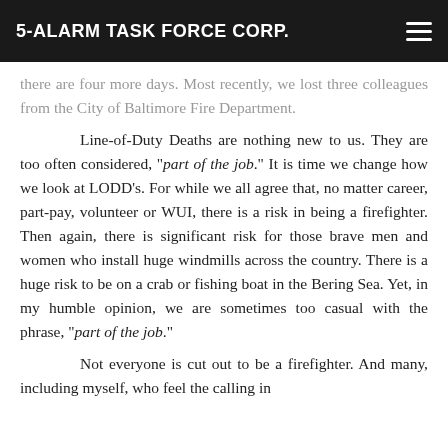5-ALARM TASK FORCE CORP.
there are four more days. Most recently, we lost three colleagues from the City of Baltimore Fire Department.

Line-of-Duty Deaths are nothing new to us. They are too often considered, "part of the job." It is time we change how we look at LODD's. For while we all agree that, no matter career, part-pay, volunteer or WUI, there is a risk in being a firefighter. Then again, there is significant risk for those brave men and women who install huge windmills across the country. There is a huge risk to be on a crab or fishing boat in the Bering Sea. Yet, in my humble opinion, we are sometimes too casual with the phrase, "part of the job."

Not everyone is cut out to be a firefighter. And many, including myself, who feel the calling in